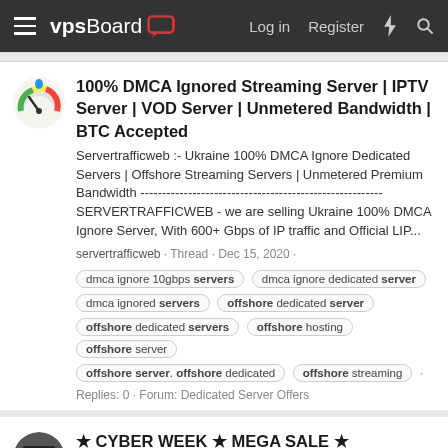vpsBoard — Log in | Register
100% DMCA Ignored Streaming Server | IPTV Server | VOD Server | Unmetered Bandwidth | BTC Accepted
Servertrafficweb :- Ukraine 100% DMCA Ignore Dedicated Servers | Offshore Streaming Servers | Unmetered Premium Bandwidth -------------------------------------------------------- SERVERTRAFFICWEB - we are selling Ukraine 100% DMCA Ignore Server, With 600+ Gbps of IP traffic and Official LIP...
servertrafficweb · Thread · Dec 15, 2020 ·
dmca ignore 10gbps servers
dmca ignore dedicated server
dmca ignored servers
offshore dedicated server
offshore dedicated servers
offshore hosting
offshore server
offshore server. offshore dedicated
offshore streaming
Replies: 0 · Forum: Dedicated Server Offers
★ CYBER WEEK ★ MEGA SALE ★ Netherland & Russia Server ★ up to 50% OFF ★ Limited Stock ★ from £ 24.99